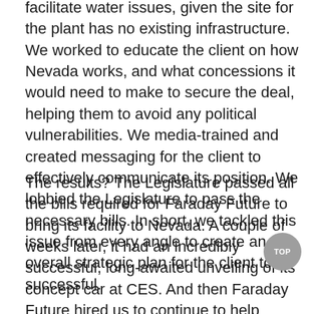facilitate water issues, given the site for the plant has no existing infrastructure. We worked to educate the client on how Nevada works, and what concessions it would need to make to secure the deal, helping them to avoid any political vulnerabilities. We media-trained and created messaging for the client to effectively communicate its position. We lobbied the Legislature to pass the necessary bills. In short, we tackled this issue from every angle to create an overall strategic plan for the client to be successful.
The results? The Legislature passed all the bills required for Faraday Future to bring its facility to Nevada. A couple of weeks later, it had an incredibly successful, long-awaited unveiling of its concept car at CES. And then Faraday Future hired us to continue to help navigate some of the commitments it made to the state as part of the deal, both GRA and PR services